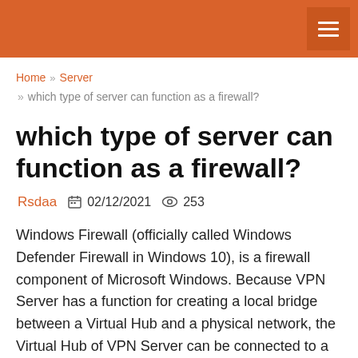≡
Home » Server » which type of server can function as a firewall?
which type of server can function as a firewall?
Rsdaa  02/12/2021  253
Windows Firewall (officially called Windows Defender Firewall in Windows 10), is a firewall component of Microsoft Windows. Because VPN Server has a function for creating a local bridge between a Virtual Hub and a physical network, the Virtual Hub of VPN Server can be connected to a physical network adapter using Layer 2 on VPN Server alone. Firewalls are tools that can be